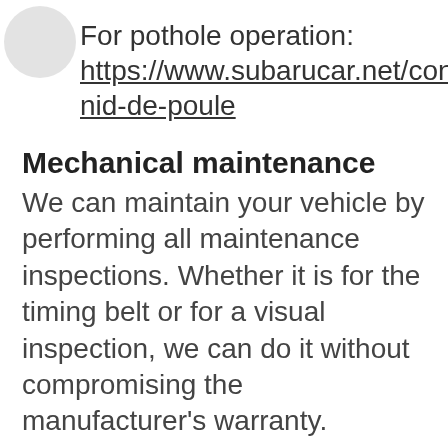For pothole operation: https://www.subarucar.net/conten nid-de-poule
Mechanical maintenance
We can maintain your vehicle by performing all maintenance inspections. Whether it is for the timing belt or for a visual inspection, we can do it without compromising the manufacturer's warranty.
Peace of mind guarantee
You can even take advantage